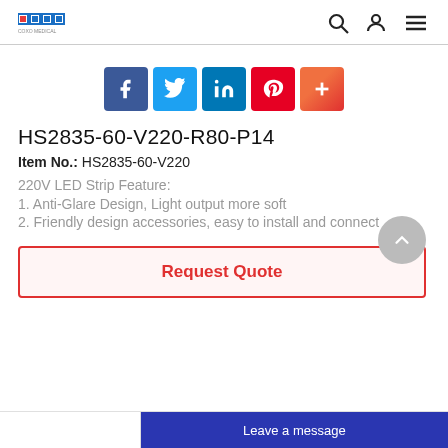COXO [logo] with search, user, menu icons
[Figure (infographic): Social share buttons: Facebook, Twitter, LinkedIn, Pinterest, Plus]
HS2835-60-V220-R80-P14
Item No.: HS2835-60-V220
220V LED Strip Feature:
1. Anti-Glare Design, Light output more soft
2. Friendly design accessories, easy to install and connect
Request Quote
Leave a message